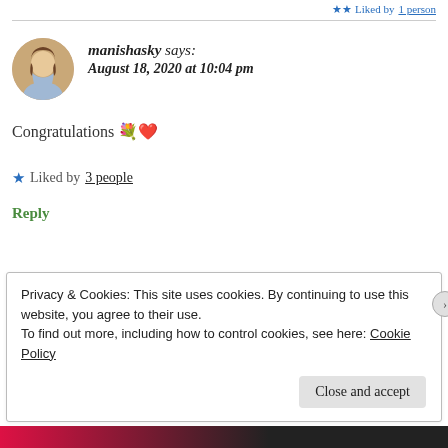Liked by 1 person
manishasky says: August 18, 2020 at 10:04 pm
Congratulations 💐❤️
★ Liked by 3 people
Reply
Privacy & Cookies: This site uses cookies. By continuing to use this website, you agree to their use. To find out more, including how to control cookies, see here: Cookie Policy
Close and accept